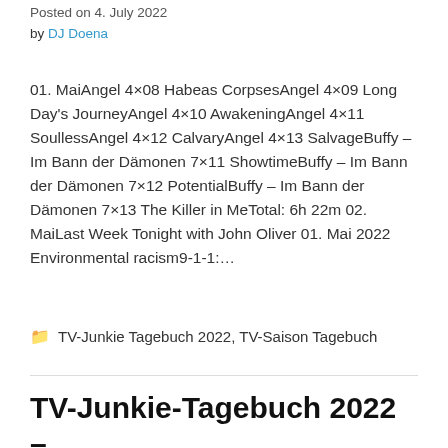Posted on 4. July 2022
by DJ Doena
01. MaiAngel 4×08 Habeas CorpsesAngel 4×09 Long Day's JourneyAngel 4×10 AwakeningAngel 4×11 SoullessAngel 4×12 CalvaryAngel 4×13 SalvageBuffy – Im Bann der Dämonen 7×11 ShowtimeBuffy – Im Bann der Dämonen 7×12 PotentialBuffy – Im Bann der Dämonen 7×13 The Killer in MeTotal: 6h 22m 02. MaiLast Week Tonight with John Oliver 01. Mai 2022 Environmental racism9-1-1:…
TV-Junkie Tagebuch 2022, TV-Saison Tagebuch
TV-Junkie-Tagebuch 2022 –